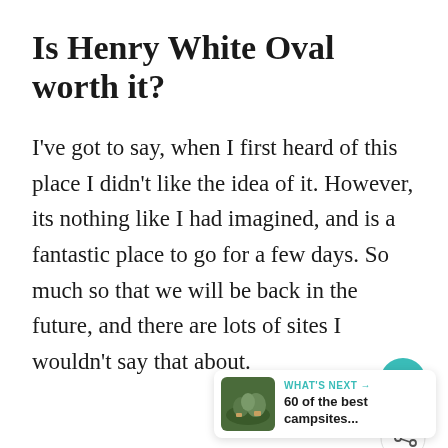Is Henry White Oval worth it?
I've got to say, when I first heard of this place I didn't like the idea of it. However, its nothing like I had imagined, and is a fantastic place to go for a few days. So much so that we will be back in the future, and there are lots of sites I wouldn't say that about.
[Figure (other): Teal circular heart/favourite button]
[Figure (other): White circular share button with share icon]
[Figure (other): What's Next panel with campsite thumbnail image and text '60 of the best campsites...']